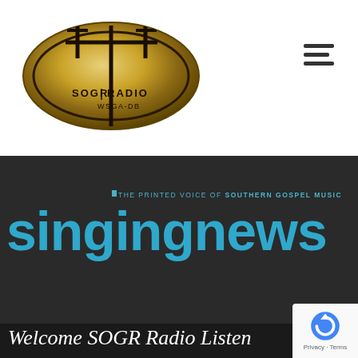[Figure (logo): SOGR Radio oval logo with cross/antenna design on gold/metallic background, text reads SOGR RADIO WSGA-DB]
[Figure (other): Hamburger menu icon (three horizontal lines)]
[Figure (logo): Singing News logo on dark background - large cyan/blue text 'singingnews' with tagline 'THE PRINTED VOICE OF SOUTHERN GOSPEL MUSIC' above]
Welcome SOGR Radio Listen
[Figure (other): Google reCAPTCHA badge with blue circular arrow logo, text 'Privacy · Terms']